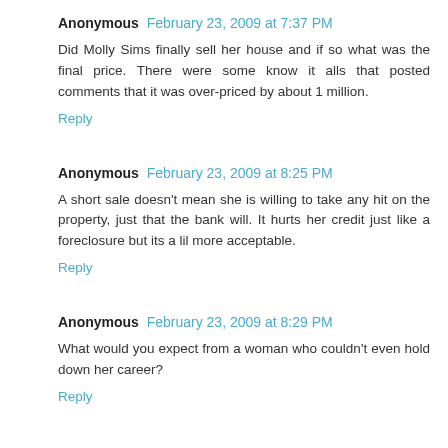Anonymous February 23, 2009 at 7:37 PM
Did Molly Sims finally sell her house and if so what was the final price. There were some know it alls that posted comments that it was over-priced by about 1 million.
Reply
Anonymous February 23, 2009 at 8:25 PM
A short sale doesn't mean she is willing to take any hit on the property, just that the bank will. It hurts her credit just like a foreclosure but its a lil more acceptable.
Reply
Anonymous February 23, 2009 at 8:29 PM
What would you expect from a woman who couldn't even hold down her career?
Reply